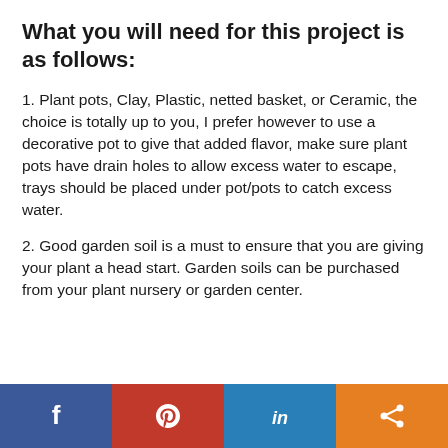What you will need for this project is as follows:
1. Plant pots, Clay, Plastic, netted basket, or Ceramic, the choice is totally up to you, I prefer however to use a decorative pot to give that added flavor, make sure plant pots have drain holes to allow excess water to escape, trays should be placed under pot/pots to catch excess water.
2. Good garden soil is a must to ensure that you are giving your plant a head start. Garden soils can be purchased from your plant nursery or garden center.
[Figure (infographic): Social media sharing bar with four buttons: Facebook (blue), Pinterest (red), LinkedIn (blue), and Share (orange), each with white icons.]